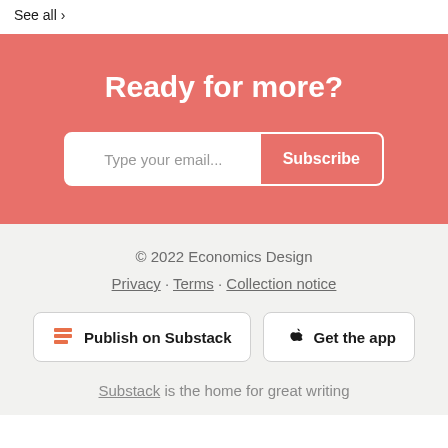See all ›
Ready for more?
Type your email... Subscribe
© 2022 Economics Design
Privacy · Terms · Collection notice
Publish on Substack
Get the app
Substack is the home for great writing